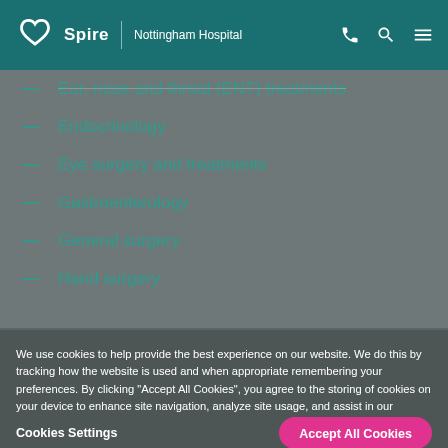Spire | Nottingham Hospital
Ear, nose and throat (ENT) treatments
Endocrinology
Eye surgery and treatments
Gastroenterology
General surgery
Hand surgery
We use cookies to help provide the best experience on our website. We do this by tracking how the website is used and when appropriate remembering your preferences. By clicking "Accept All Cookies", you agree to the storing of cookies on your device to enhance site navigation, analyze site usage, and assist in our marketing efforts. Read our privacy and cookie policy
Cookies Settings | Accept All Cookies